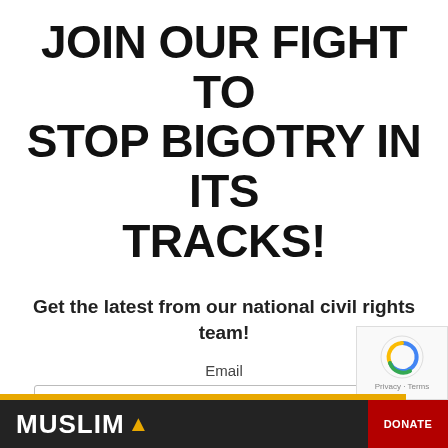JOIN OUR FIGHT TO STOP BIGOTRY IN ITS TRACKS!
Get the latest from our national civil rights team!
Email
email@email.com
SUBMIT
MUSLIM ▲  DONATE